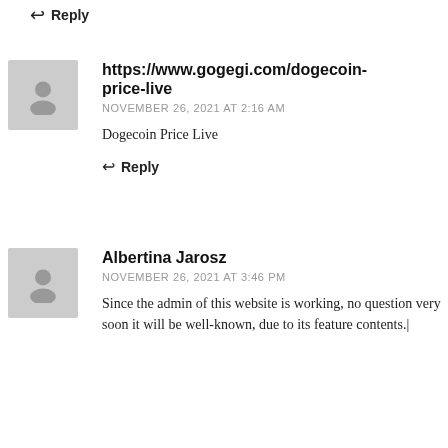↩ Reply
[Figure (illustration): Gray avatar placeholder icon for commenter https://www.gogegi.com/dogecoin-price-live]
https://www.gogegi.com/dogecoin-price-live
NOVEMBER 26, 2021 AT 2:16 AM
Dogecoin Price Live
↩ Reply
[Figure (illustration): Gray avatar placeholder icon for commenter Albertina Jarosz]
Albertina Jarosz
NOVEMBER 26, 2021 AT 3:46 PM
Since the admin of this website is working, no question very soon it will be well-known, due to its feature contents.|